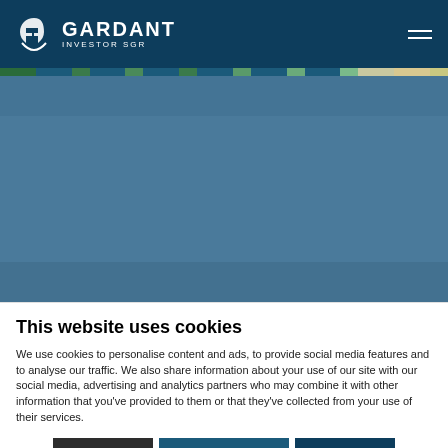GARDANT INVESTOR SGR
[Figure (screenshot): Gardant Investor SGR website screenshot with hero banner area in teal/blue color]
This website uses cookies
We use cookies to personalise content and ads, to provide social media features and to analyse our traffic. We also share information about your use of our site with our social media, advertising and analytics partners who may combine it with other information that you've provided to them or that they've collected from your use of their services.
Deny | Allow selection | Allow all
Necessary | Preferences | Statistics | Marketing | Show details